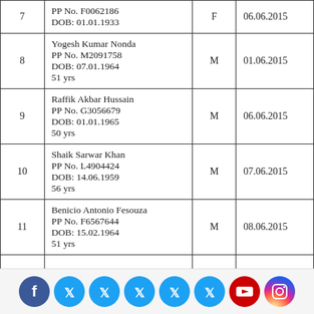| # | Details | Gender | Date |
| --- | --- | --- | --- |
| 7 | PP No. F0062186
DOB: 01.01.1933 | F | 06.06.2015 |
| 8 | Yogesh Kumar Nonda
PP No. M2091758
DOB: 07.01.1964
51 yrs | M | 01.06.2015 |
| 9 | Raffik Akbar Hussain
PP No. G3056679
DOB: 01.01.1965
50 yrs | M | 06.06.2015 |
| 10 | Shaik Sarwar Khan
PP No. L4904424
DOB: 14.06.1959
56 yrs | M | 07.06.2015 |
| 11 | Benicio Antonio Fesouza
PP No. F6567644
DOB: 15.02.1964
51 yrs | M | 08.06.2015 |
[Figure (other): Social media icons footer bar: Facebook, Twitter (x5), YouTube, Instagram]